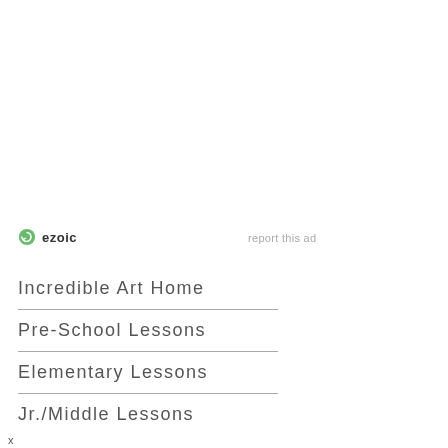[Figure (logo): Ezoic logo with green circular arrow icon and bold 'ezoic' text in dark gray]
report this ad
Incredible Art Home
Pre-School Lessons
Elementary Lessons
Jr./Middle Lessons